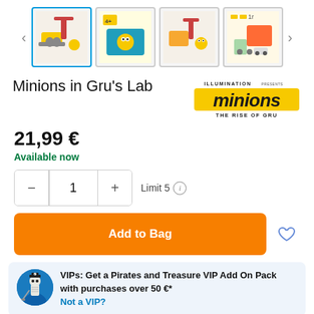[Figure (screenshot): Product image thumbnail strip with 4 Minions LEGO set thumbnails and navigation arrows]
Minions in Gru's Lab
[Figure (logo): Illumination presents Minions The Rise of Gru logo]
21,99 €
Available now
Limit 5
Add to Bag
VIPs: Get a Pirates and Treasure VIP Add On Pack with purchases over 50 €*
Not a VIP?